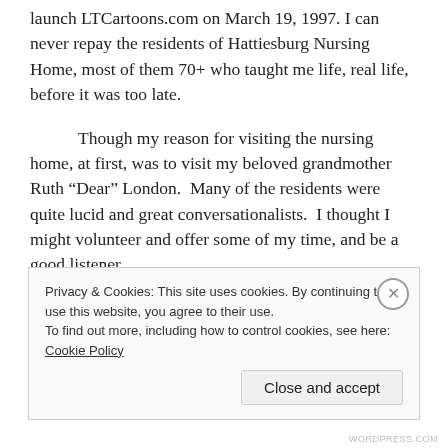launch LTCartoons.com on March 19, 1997. I can never repay the residents of Hattiesburg Nursing Home, most of them 70+ who taught me life, real life, before it was too late.
Though my reason for visiting the nursing home, at first, was to visit my beloved grandmother Ruth “Dear” London.  Many of the residents were quite lucid and great conversationalists.  I thought I might volunteer and offer some of my time, and be a good listener.
Privacy & Cookies: This site uses cookies. By continuing to use this website, you agree to their use.
To find out more, including how to control cookies, see here: Cookie Policy
Close and accept